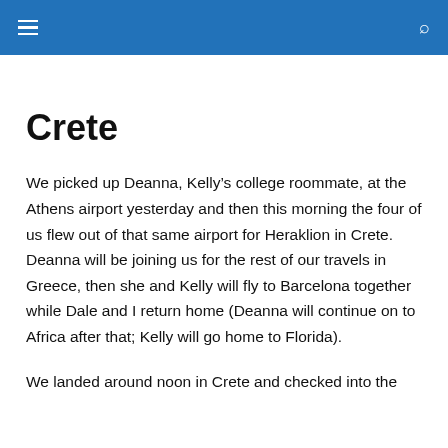Crete
We picked up Deanna, Kelly’s college roommate, at the Athens airport yesterday and then this morning the four of us flew out of that same airport for Heraklion in Crete. Deanna will be joining us for the rest of our travels in Greece, then she and Kelly will fly to Barcelona together while Dale and I return home (Deanna will continue on to Africa after that; Kelly will go home to Florida).
We landed around noon in Crete and checked into the